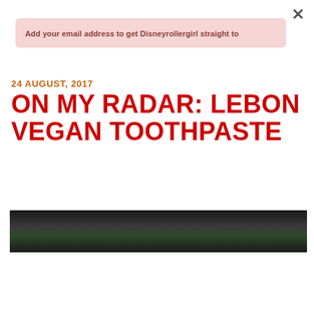×
Add your email address to get Disneyrollergirl straight to
24 AUGUST, 2017
ON MY RADAR: LEBON VEGAN TOOTHPASTE
[Figure (photo): Dark photo strip showing what appears to be a toothpaste tube with a green cap on a dark background]